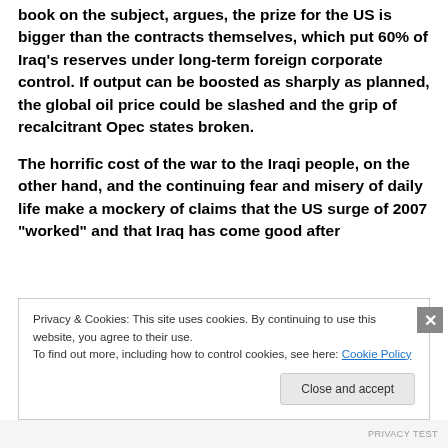book on the subject, argues, the prize for the US is bigger than the contracts themselves, which put 60% of Iraq’s reserves under long-term foreign corporate control. If output can be boosted as sharply as planned, the global oil price could be slashed and the grip of recalcitrant Opec states broken.
The horrific cost of the war to the Iraqi people, on the other hand, and the continuing fear and misery of daily life make a mockery of claims that the US surge of 2007 “worked” and that Iraq has come good after
Privacy & Cookies: This site uses cookies. By continuing to use this website, you agree to their use. To find out more, including how to control cookies, see here: Cookie Policy